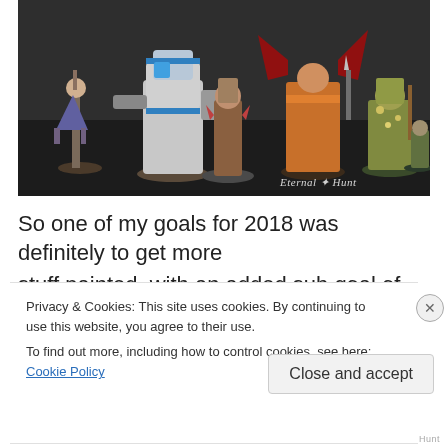[Figure (photo): Group of painted Warhammer miniature figures arranged together on a dark surface, including space marines and chaos warriors in various colors. Watermark reads 'Eternal Hunt' with a snowflake/star symbol.]
So one of my goals for 2018 was definitely to get more stuff painted, with an added sub goal of trying to make a
Privacy & Cookies: This site uses cookies. By continuing to use this website, you agree to their use.
To find out more, including how to control cookies, see here: Cookie Policy
Close and accept